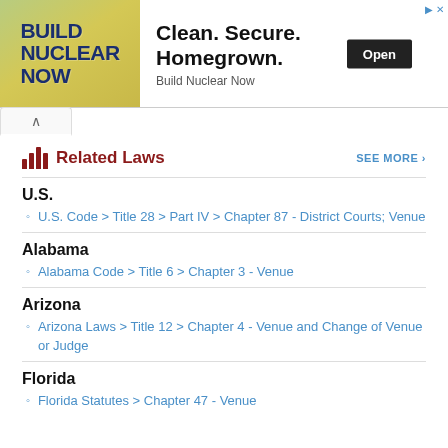[Figure (other): Advertisement banner: Build Nuclear Now — Clean. Secure. Homegrown. with Open button]
Related Laws
SEE MORE ›
U.S.
U.S. Code > Title 28 > Part IV > Chapter 87 - District Courts; Venue
Alabama
Alabama Code > Title 6 > Chapter 3 - Venue
Arizona
Arizona Laws > Title 12 > Chapter 4 - Venue and Change of Venue or Judge
Florida
Florida Statutes > Chapter 47 - Venue